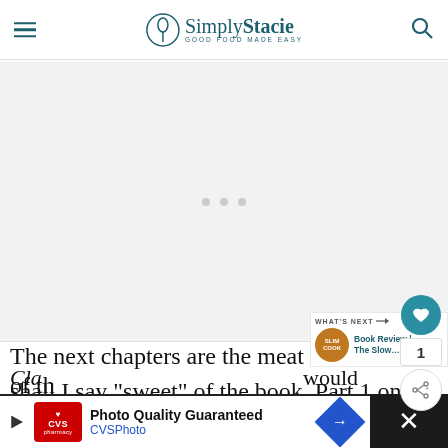Simply Stacie - Good Food Made Easy
[Figure (photo): Large blank/placeholder image area in light gray, main content image for article]
The next chapters are the meat of th shall I say "sweet" of the book. Part 1 on Cla would
[Figure (infographic): WHAT'S NEXT banner with Book Review | The Slow... thumbnail]
[Figure (screenshot): CVS Photo ad bar at bottom: Photo Quality Guaranteed, CVS Photo with blue diamond navigation icon and close X button]